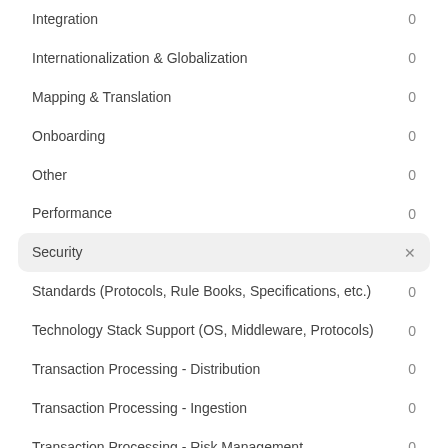Integration  0
Internationalization & Globalization  0
Mapping & Translation  0
Onboarding  0
Other  0
Performance  0
Security  ×
Standards (Protocols, Rule Books, Specifications, etc.)  0
Technology Stack Support (OS, Middleware, Protocols)  0
Transaction Processing - Distribution  0
Transaction Processing - Ingestion  0
Transaction Processing - Risk Management  0